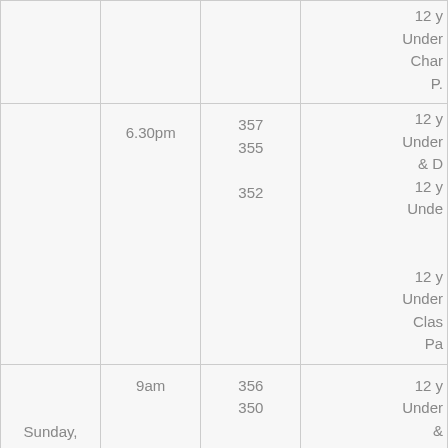| Day | Time | Route | Description |
| --- | --- | --- | --- |
|  |  |  | 12 y
Under
Char
P. |
|  | 6.30pm | 357
355

352 | 12 y
Under
& D
12 y
Unde


12 y
Under
Clas
Pa |
| Sunday,


30th | 9am | 356
350

352 | 12 y
Under
&
12 y
Un
Clas |